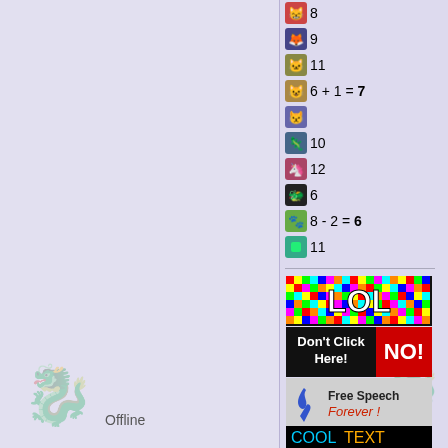8
9
11
6 + 1 = 7
10
12
6
8 - 2 = 6
11
[Figure (illustration): LOL colorful pixel art banner button]
[Figure (illustration): Don't Click Here! NO! red banner button]
[Figure (illustration): Free Speech Forever blue ribbon banner button]
[Figure (illustration): #1 Free Stuff yellow oval banner button]
[Figure (illustration): Mania 1.0 colorful text banner button]
[Figure (illustration): CoolText banner button (partially visible)]
Offline